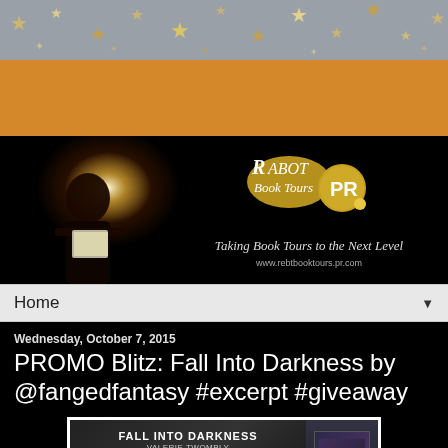[Figure (illustration): Stars and sparkles decorative banner with gold stars on grey background, followed by orange/amber bar, then RABT Book Tours PR logo banner with woman reading a glowing book on black background, tagline 'Taking Book Tours to the Next Level', website url]
Home ▼
Wednesday, October 7, 2015
PROMO Blitz: Fall Into Darkness by @fangedfantasy #excerpt #giveaway
[Figure (illustration): Promotional banner for 'Fall Into Darkness' by Valerie Twombly, PROMO Blitz October 7th, hosted by Reading Addiction Virtual Book Tours, with book cover image on right]